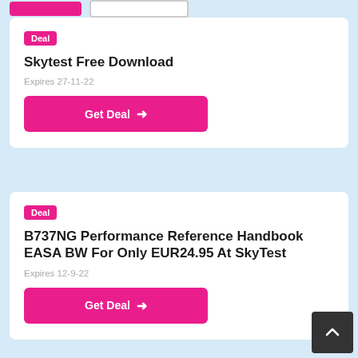Deal
Skytest Free Download
Expires 27-11-22
Get Deal →
Deal
B737NG Performance Reference Handbook EASA BW For Only EUR24.95 At SkyTest
Expires 12-9-22
Get Deal →